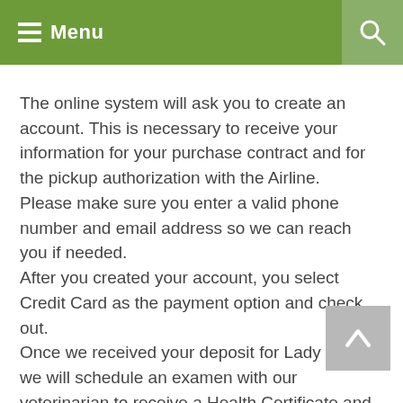Menu
The online system will ask you to create an account. This is necessary to receive your information for your purchase contract and for the pickup authorization with the Airline.
Please make sure you enter a valid phone number and email address so we can reach you if needed.
After you created your account, you select Credit Card as the payment option and check out.
Once we received your deposit for Lady Sallie, we will schedule an examen with our veterinarian to receive a Health Certificate and Flight Clearance for your puppy.
After the vet visit, we would make the flight reservation with United Airlines and send you a final invoice.
We can usually deliver your puppy within 5-7 days once we received the deposit and final